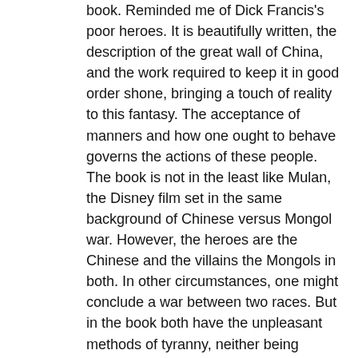book. Reminded me of Dick Francis's poor heroes. It is beautifully written, the description of the great wall of China, and the work required to keep it in good order shone, bringing a touch of reality to this fantasy. The acceptance of manners and how one ought to behave governs the actions of these people. The book is not in the least like Mulan, the Disney film set in the same background of Chinese versus Mongol war. However, the heroes are the Chinese and the villains the Mongols in both. In other circumstances, one might conclude a war between two races. But in the book both have the unpleasant methods of tyranny, neither being altogether heroic in nature. The use of burying of horseshoes at the entrance way we have more commonly seen in this country as being nailed to the doorway for luck to be contained within the household. Magic near to a hero induces migraines rather like Robert Graves' Theseus heralds earthquakes. My emotions were enlisted by the heroes and I wanted to follow the story of each, while the chapters switched between them, often, as they reached a point where a